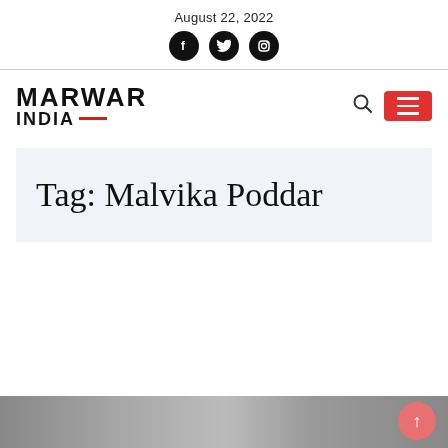August 22, 2022
[Figure (logo): Social media icons: Facebook, Twitter, Instagram (black circles)]
[Figure (logo): Marwar India logo with red underline dash, search icon, and red hamburger menu button]
Tag: Malvika Poddar
[Figure (photo): Partially visible image strip at the bottom of the page]
[Figure (other): Scroll-to-top button (pink/salmon circle with upward arrow)]